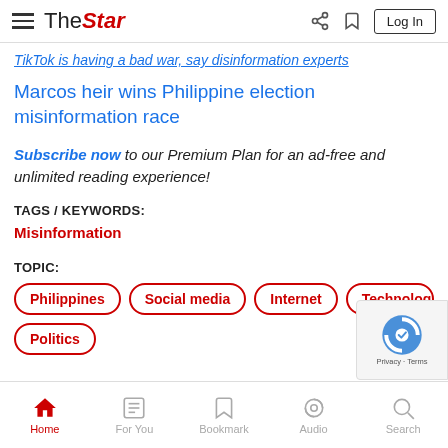TheStar — Log In
TikTok is having a bad war, say disinformation experts
Marcos heir wins Philippine election misinformation race
Subscribe now to our Premium Plan for an ad-free and unlimited reading experience!
TAGS / KEYWORDS:
Misinformation
TOPIC:
Philippines
Social media
Internet
Technology
Politics
Home   For You   Bookmark   Audio   Search